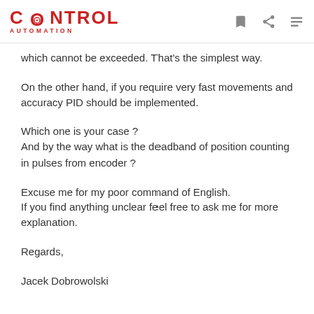CONTROL AUTOMATION
which cannot be exceeded. That's the simplest way.
On the other hand, if you require very fast movements and accuracy PID should be implemented.
Which one is your case ?
And by the way what is the deadband of position counting in pulses from encoder ?
Excuse me for my poor command of English.
If you find anything unclear feel free to ask me for more explanation.
Regards,
Jacek Dobrowolski